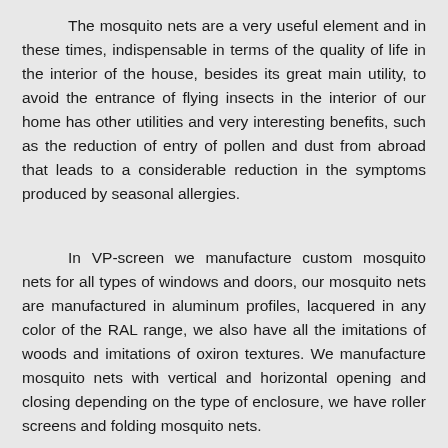The mosquito nets are a very useful element and in these times, indispensable in terms of the quality of life in the interior of the house, besides its great main utility, to avoid the entrance of flying insects in the interior of our home has other utilities and very interesting benefits, such as the reduction of entry of pollen and dust from abroad that leads to a considerable reduction in the symptoms produced by seasonal allergies.
In VP-screen we manufacture custom mosquito nets for all types of windows and doors, our mosquito nets are manufactured in aluminum profiles, lacquered in any color of the RAL range, we also have all the imitations of woods and imitations of oxiron textures. We manufacture mosquito nets with vertical and horizontal opening and closing depending on the type of enclosure, we have roller screens and folding mosquito nets.